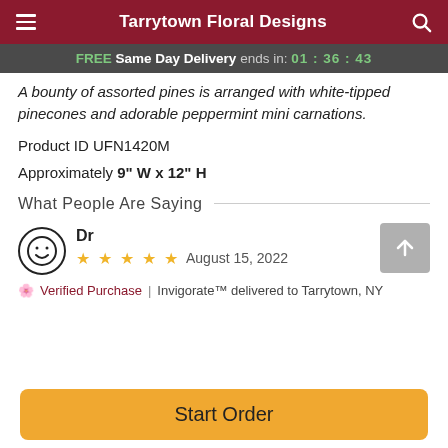Tarrytown Floral Designs
FREE Same Day Delivery ends in: 01:36:43
A bounty of assorted pines is arranged with white-tipped pinecones and adorable peppermint mini carnations.
Product ID UFN1420M
Approximately 9" W x 12" H
What People Are Saying
Dr
★★★★★  August 15, 2022
Verified Purchase  |  Invigorate™ delivered to Tarrytown, NY
Start Order